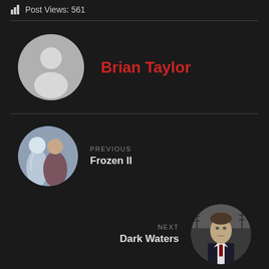Post Views: 561
[Figure (photo): Generic user avatar placeholder — grey circle with white silhouette of person]
Brian Taylor
[Figure (photo): Movie scene image showing animated characters Elsa and Anna from Frozen II]
PREVIOUS
Frozen II
[Figure (photo): Movie scene image showing a man in a suit from Dark Waters]
NEXT
Dark Waters